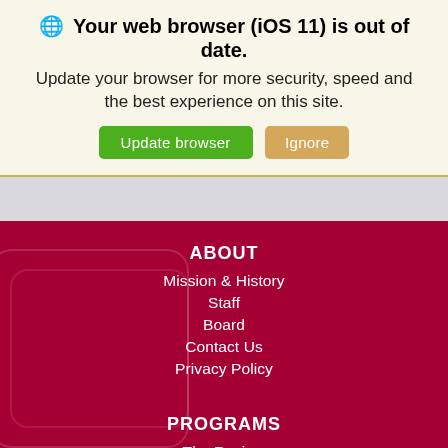🌐 Your web browser (iOS 11) is out of date. Update your browser for more security, speed and the best experience on this site.
Update browser | Ignore
ABOUT
Mission & History
Staff
Board
Contact Us
Privacy Policy
PROGRAMS
The Review